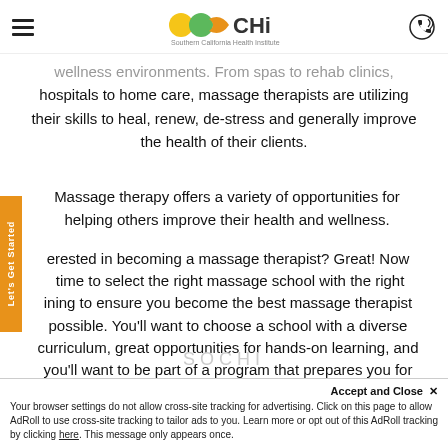SOCHi Southern California Health Institute
wellness environments. From spas to rehab clinics, hospitals to home care, massage therapists are utilizing their skills to heal, renew, de-stress and generally improve the health of their clients.
Massage therapy offers a variety of opportunities for helping others improve their health and wellness.
Interested in becoming a massage therapist? Great! Now is time to select the right massage school with the right training to ensure you become the best massage therapist possible. You'll want to choose a school with a diverse curriculum, great opportunities for hands-on learning, and you'll want to be part of a program that prepares you for the major exams and state certifications. A school like
Your browser settings do not allow cross-site tracking for advertising. Click on this page to allow AdRoll to use cross-site tracking to tailor ads to you. Learn more or opt out of this AdRoll tracking by clicking here. This message only appears once.